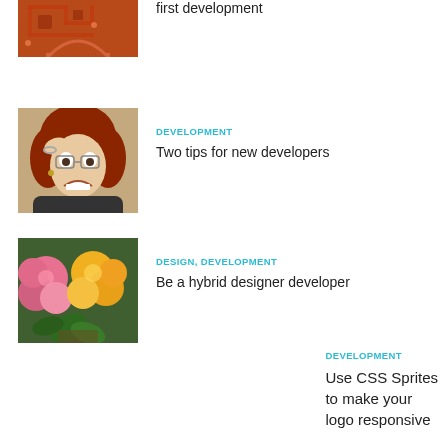[Figure (screenshot): Partial top image showing a rust/red colored circuit board or architectural illustration]
first development
[Figure (photo): Woman with red hair looking frustrated or shocked, holding her head]
DEVELOPMENT
Two tips for new developers
[Figure (photo): Colorful flowers including pink carnations and yellow roses]
DESIGN, DEVELOPMENT
Be a hybrid designer developer
DEVELOPMENT
Use CSS Sprites to make your logo responsive